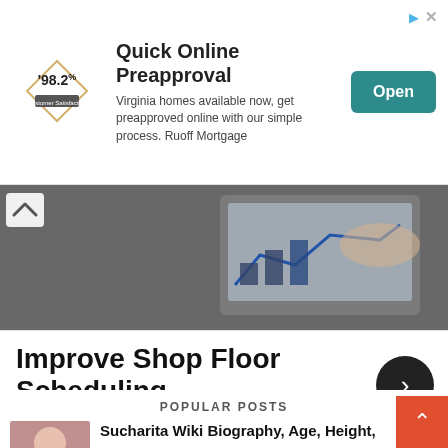[Figure (infographic): Advertisement banner: '98.2% Customer Satisfaction' diamond logo, heading 'Quick Online Preapproval', description text 'Virginia homes available now, get preapproved online with our simple process. Ruoff Mortgage', and an Open button.]
[Figure (photo): Hero image of a person holding a tablet showing analytics/charts, dark blurred background, with a white chevron-up button in top-left corner.]
Improve Shop Floor Scheduling
Synergy Resources
POPULAR POSTS
Sucharita Wiki Biography, Age, Height,